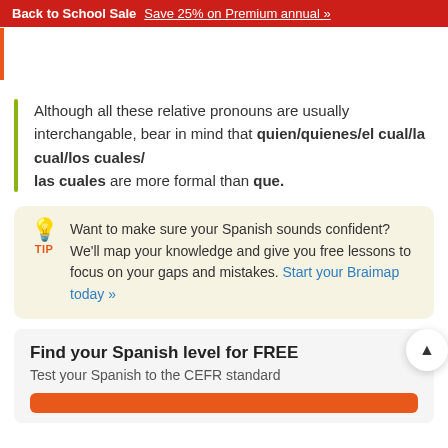Back to School Sale  Save 25% on Premium annual »
Although all these relative pronouns are usually interchangable, bear in mind that quien/quienes/el cual/la cual/los cuales/las cuales are more formal than que.
TIP: Want to make sure your Spanish sounds confident? We'll map your knowledge and give you free lessons to focus on your gaps and mistakes. Start your Braimap today »
Find your Spanish level for FREE
Test your Spanish to the CEFR standard